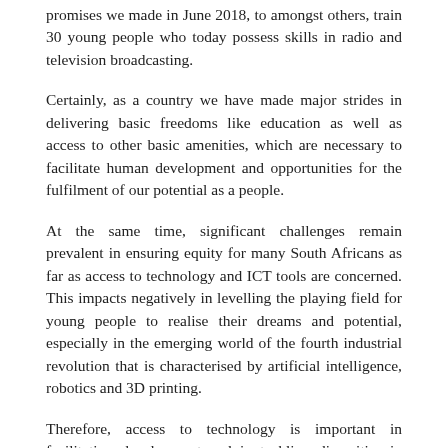promises we made in June 2018, to amongst others, train 30 young people who today possess skills in radio and television broadcasting.
Certainly, as a country we have made major strides in delivering basic freedoms like education as well as access to other basic amenities, which are necessary to facilitate human development and opportunities for the fulfilment of our potential as a people.
At the same time, significant challenges remain prevalent in ensuring equity for many South Africans as far as access to technology and ICT tools are concerned. This impacts negatively in levelling the playing field for young people to realise their dreams and potential, especially in the emerging world of the fourth industrial revolution that is characterised by artificial intelligence, robotics and 3D printing.
Therefore, access to technology is important in facilitating development and in tackling disparities in society.
This is the reason our visit here today is special for the community of Nkomazi, the people of Mpumalanga and South Africans in general.